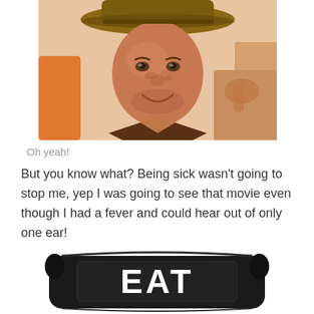[Figure (photo): A man wearing a tan/brown fedora hat and brown leather jacket, smiling and gesturing, outdoors in bright light — resembling Indiana Jones character]
Oh yeah!
But you know what? Being sick wasn't going to stop me, yep I was going to see that movie even though I had a fever and could hear out of only one ear!
[Figure (photo): A black decorative pillow with bold white capital letters reading 'EAT' partially visible at the bottom of the page]